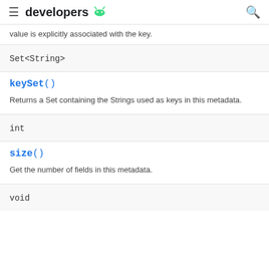developers (android logo)
value is explicitly associated with the key.
Set<String>
keySet()
Returns a Set containing the Strings used as keys in this metadata.
int
size()
Get the number of fields in this metadata.
void